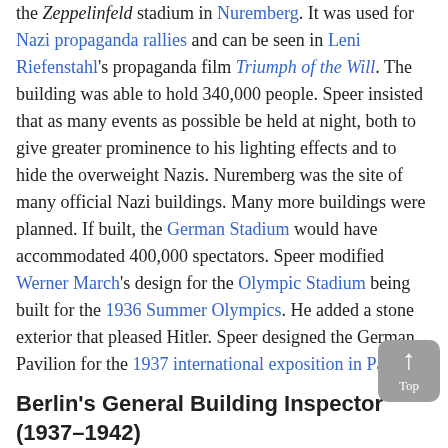the Zeppelinfeld stadium in Nuremberg. It was used for Nazi propaganda rallies and can be seen in Leni Riefenstahl's propaganda film Triumph of the Will. The building was able to hold 340,000 people. Speer insisted that as many events as possible be held at night, both to give greater prominence to his lighting effects and to hide the overweight Nazis. Nuremberg was the site of many official Nazi buildings. Many more buildings were planned. If built, the German Stadium would have accommodated 400,000 spectators. Speer modified Werner March's design for the Olympic Stadium being built for the 1936 Summer Olympics. He added a stone exterior that pleased Hitler. Speer designed the German Pavilion for the 1937 international exposition in Paris.
Berlin's General Building Inspector (1937–1942)
On 30 January 1937, Hitler appointed Speer as
[Figure (photo): A photograph showing what appears to be a model or architectural detail, partially visible at the bottom right of the page.]